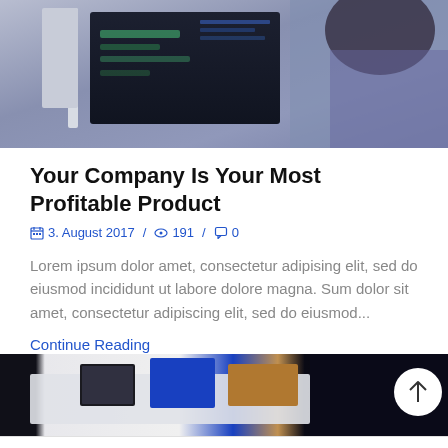[Figure (photo): Photo of a person working at a computer monitor, showing a dark screen with UI elements, viewed from the side.]
Your Company Is Your Most Profitable Product
3. August 2017 / 191 / 0
Lorem ipsum dolor amet, consectetur adipising elit, sed do eiusmod incididunt ut labore dolore magna. Sum dolor sit amet, consectetur adipiscing elit, sed do eiusmod...
Continue Reading
[Figure (photo): Partial bottom image strip showing a collage of photos behind a laptop screen.]
Home  Shop  Cart